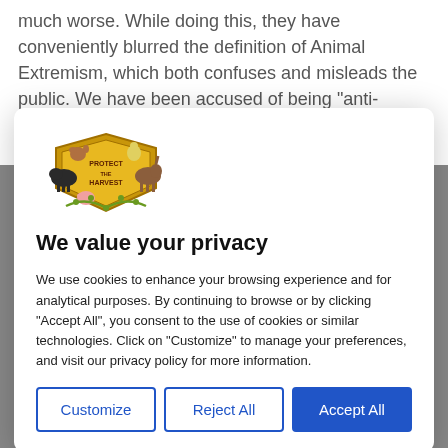much worse. While doing this, they have conveniently blurred the definition of Animal Extremism, which both confuses and misleads the public. We have been accused of being "anti-animal" and "against animals". We have even been accused of "hating horses" and benefiting
[Figure (logo): Protect the Harvest logo featuring a golden shield with farm animals including a cow, horse, pig, dog, and chicken surrounding it]
We value your privacy
We use cookies to enhance your browsing experience and for analytical purposes. By continuing to browse or by clicking "Accept All", you consent to the use of cookies or similar technologies. Click on "Customize" to manage your preferences, and visit our privacy policy for more information.